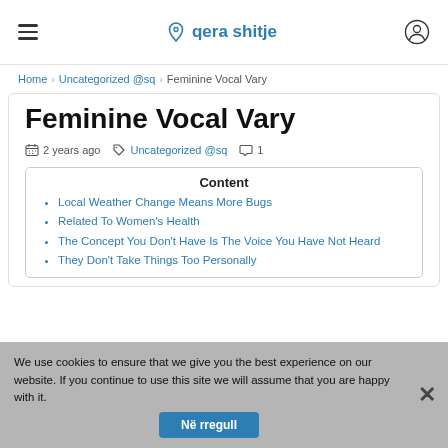qera shitje — site header with hamburger menu and user icon
Home > Uncategorized @sq > Feminine Vocal Vary
Feminine Vocal Vary
2 years ago  Uncategorized @sq  1
Content
Local Weather Change Means More Bugs
Related To Women's Health
The Concept You Don't Have Is The Voice You Have Not Heard
They Don't Take Things Too Personally
We use cookies to ensure that we give you the best experience on our website. If you continue to use this site we will assume that you are happy with it.
Në rregull